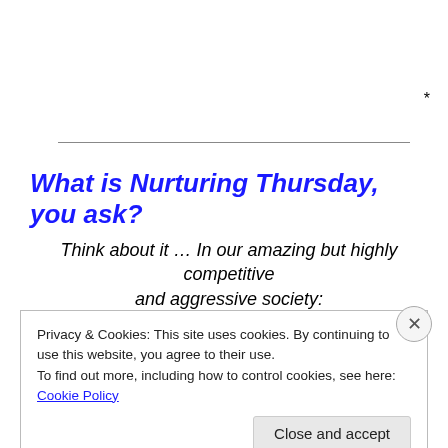*
What is Nurturing Thursday, you ask?
Think about it … In our amazing but highly competitive and aggressive society:
Privacy & Cookies: This site uses cookies. By continuing to use this website, you agree to their use.
To find out more, including how to control cookies, see here: Cookie Policy
Close and accept